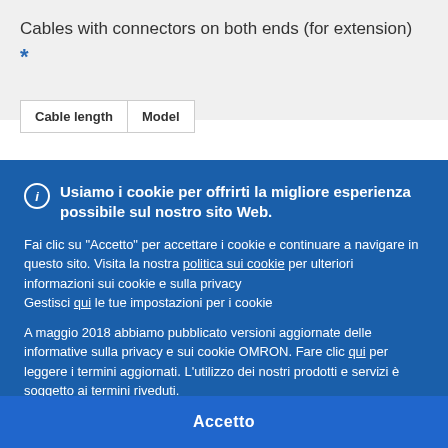Cables with connectors on both ends (for extension) *
| Cable length | Model |
| --- | --- |
Usiamo i cookie per offrirti la migliore esperienza possibile sul nostro sito Web.
Fai clic su "Accetto" per accettare i cookie e continuare a navigare in questo sito. Visita la nostra politica sui cookie per ulteriori informazioni sui cookie e sulla privacy
Gestisci qui le tue impostazioni per i cookie
A maggio 2018 abbiamo pubblicato versioni aggiornate delle informative sulla privacy e sui cookie OMRON. Fare clic qui per leggere i termini aggiornati. L'utilizzo dei nostri prodotti e servizi è soggetto ai termini riveduti.
Accetto